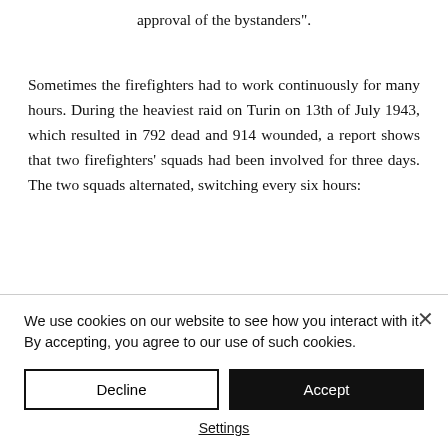approval of the bystanders".
Sometimes the firefighters had to work continuously for many hours. During the heaviest raid on Turin on 13th of July 1943, which resulted in 792 dead and 914 wounded, a report shows that two firefighters’ squads had been involved for three days. The two squads alternated, switching every six hours:
“The removal of the ruins started by the squads hastened with the help of the soldiers of
We use cookies on our website to see how you interact with it. By accepting, you agree to our use of such cookies.
Decline
Accept
Settings